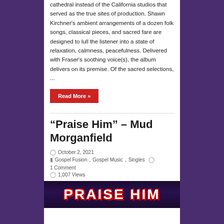cathedral instead of the California studios that served as the true sites of production. Shawn Kirchner's ambient arrangements of a dozen folk songs, classical pieces, and sacred fare are designed to lull the listener into a state of relaxation, calmness, peacefulness. Delivered with Fraser's soothing voice(s), the album delivers on its premise. Of the sacred selections, ...
Read More »
“Praise Him” – Mud Morganfield
October 2, 2021
Gospel Fusion, Gospel Music, Singles   1 Comment   1,007 Views
[Figure (photo): PRAISE HIM title image with bold white text on dark purple/navy background with red shadow effect]